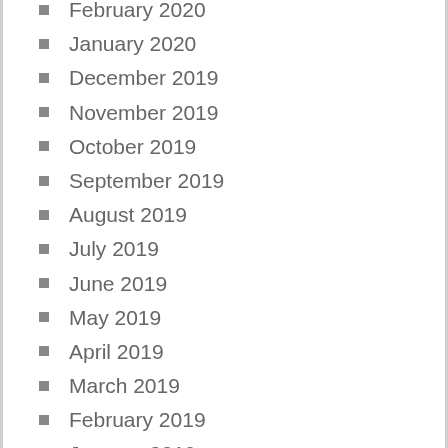February 2020
January 2020
December 2019
November 2019
October 2019
September 2019
August 2019
July 2019
June 2019
May 2019
April 2019
March 2019
February 2019
January 2019
December 2018
November 2018